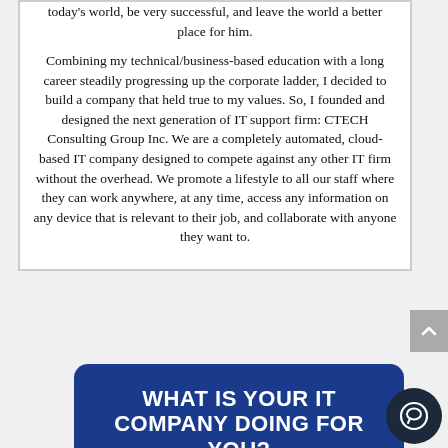today's world, be very successful, and leave the world a better place for him.

Combining my technical/business-based education with a long career steadily progressing up the corporate ladder, I decided to build a company that held true to my values. So, I founded and designed the next generation of IT support firm: CTECH Consulting Group Inc. We are a completely automated, cloud-based IT company designed to compete against any other IT firm without the overhead. We promote a lifestyle to all our staff where they can work anywhere, at any time, access any information on any device that is relevant to their job, and collaborate with anyone they want to.
[Figure (other): Blue banner with bold white text reading 'WHAT IS YOUR IT COMPANY DOING FOR YOU?' and subtitle 'Find Out Why Hundreds Of Business']